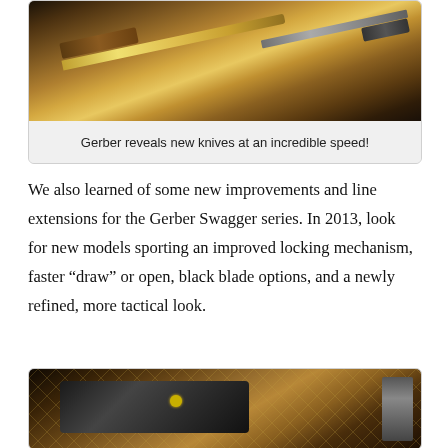[Figure (photo): Close-up photo of Gerber knives displayed on a wooden surface with sepia/warm tones]
Gerber reveals new knives at an incredible speed!
We also learned of some new improvements and line extensions for the Gerber Swagger series. In 2013, look for new models sporting an improved locking mechanism, faster “draw” or open, black blade options, and a newly refined, more tactical look.
[Figure (photo): Close-up photo of a tactical tool or knife mechanism on a grid/mesh background with warm tones, showing a black body with yellow accent]